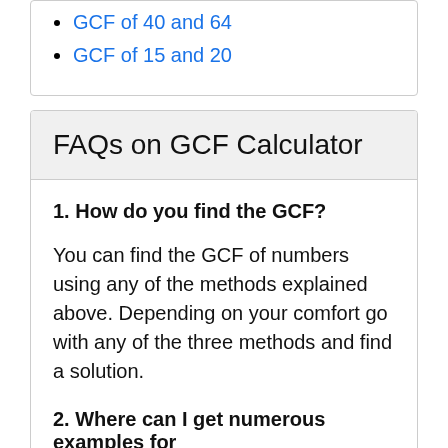GCF of 40 and 64
GCF of 15 and 20
FAQs on GCF Calculator
1. How do you find the GCF?
You can find the GCF of numbers using any of the methods explained above. Depending on your comfort go with any of the three methods and find a solution.
2. Where can I get numerous examples for